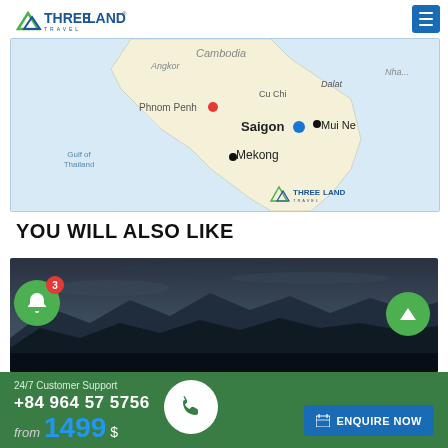THREELAND TRAVEL
[Figure (map): Map showing Southeast Asia region including Cambodia, Vietnam with cities labeled: Phnom Penh (with red dot), Cu Chi, Saigon (with blue dot), Mui Ne (with black dot), Mekong (with black dot), Gulf of Thailand, Angkor, Dalat, Nha. Threeland Travel logo watermark in bottom right.]
YOU WILL ALSO LIKE
[Figure (photo): Landscape photo of misty mountains at dusk/dawn, dark silhouetted mountains with cloudy sky.]
24/7 Customer Support
+84 964 57 5756
from 1499 $
ENQUIRE NOW